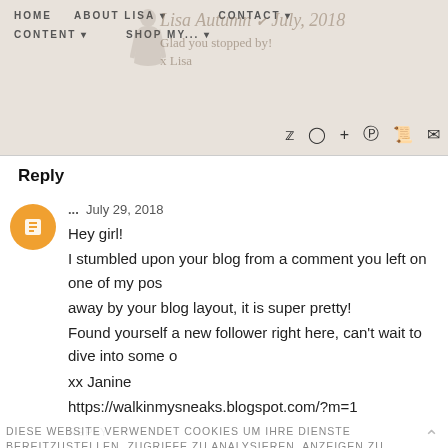HOME  ABOUT LISA  CONTACT  CONTENT  SHOP MY...
Lisa Autumn · July, 2018
Glad you stopped by!
x Lisa
Reply
... July 29, 2018
Hey girl!
I stumbled upon your blog from a comment you left on one of my posts and was blown away by your blog layout, it is super pretty!
Found yourself a new follower right here, can't wait to dive into some of your content!
xx Janine
https://walkinmysneaks.blogspot.com/?m=1
REPLY
Diese Website verwendet cookies um Ihre Dienste bereitzustellen, Zugriffe zu analysieren, Anzeigen zu personalisieren und damit zu verbessern. Durch die Nutzung erklären Sie sich damit einverstanden. More info
▼  Replies
Lisa Autumn ✓ July 30, 2018